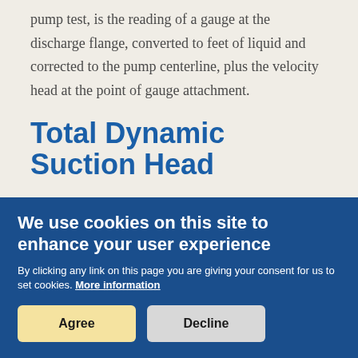pump test, is the reading of a gauge at the discharge flange, converted to feet of liquid and corrected to the pump centerline, plus the velocity head at the point of gauge attachment.
Total Dynamic Suction Head
We use cookies on this site to enhance your user experience
By clicking any link on this page you are giving your consent for us to set cookies. More information